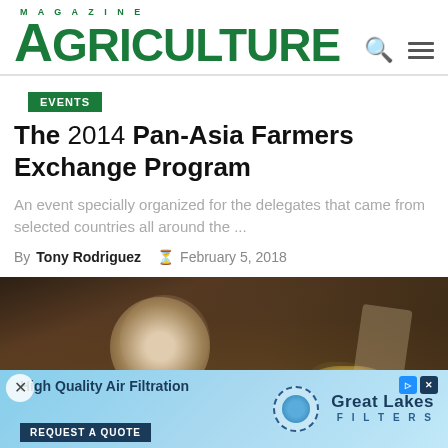AGRICULTURE MAGAZINE
EVENTS
The 2014 Pan-Asia Farmers Exchange Program
An event specially organized for the delegates that came from selected countries all around the ...
By Tony Rodriguez  February 5, 2018
[Figure (photo): Blurry close-up photo of a table setting with a glass decanter and papers/food items in a dark restaurant or event setting]
[Figure (other): Advertisement banner: High Quality Air Filtration - Great Lakes Filters - REQUEST A QUOTE]